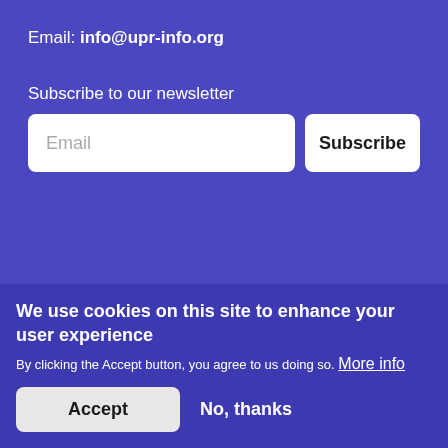Email: info@upr-info.org
Subscribe to our newsletter
Email
Subscribe
Our donors
They support us
We use cookies on this site to enhance your user experience
By clicking the Accept button, you agree to us doing so. More info
Accept
No, thanks